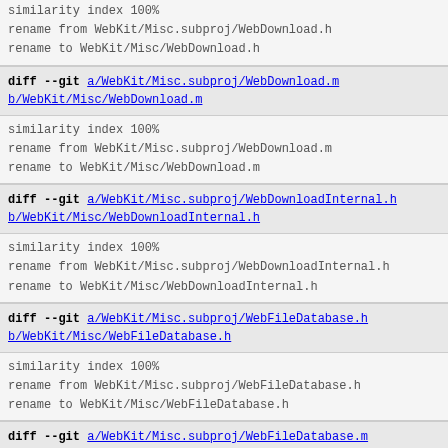similarity index 100%
rename from WebKit/Misc.subproj/WebDownload.h
rename to WebKit/Misc/WebDownload.h
diff --git a/WebKit/Misc.subproj/WebDownload.m b/WebKit/Misc/WebDownload.m
similarity index 100%
rename from WebKit/Misc.subproj/WebDownload.m
rename to WebKit/Misc/WebDownload.m
diff --git a/WebKit/Misc.subproj/WebDownloadInternal.h b/WebKit/Misc/WebDownloadInternal.h
similarity index 100%
rename from WebKit/Misc.subproj/WebDownloadInternal.h
rename to WebKit/Misc/WebDownloadInternal.h
diff --git a/WebKit/Misc.subproj/WebFileDatabase.h b/WebKit/Misc/WebFileDatabase.h
similarity index 100%
rename from WebKit/Misc.subproj/WebFileDatabase.h
rename to WebKit/Misc/WebFileDatabase.h
diff --git a/WebKit/Misc.subproj/WebFileDatabase.m b/WebKit/Misc/WebFileDatabase.m
similarity index 100%
rename from WebKit/Misc.subproj/WebFileDatabase.m
rename to WebKit/Misc/WebFileDatabase.m
diff --git a/WebKit/Misc.subproj/WebIconDatabase.h b/WebKit/Misc/WebIconDatabase.h
similarity index 100%
rename from WebKit/Misc.subproj/WebIconDatabase.h